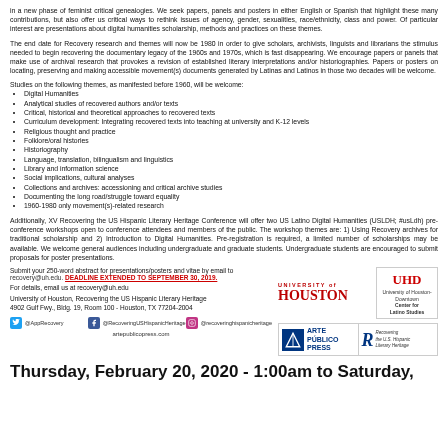in a new phase of feminist critical genealogies. We seek papers, panels and posters in either English or Spanish that highlight these many contributions, but also offer us critical ways to rethink issues of agency, gender, sexualities, race/ethnicity, class and power. Of particular interest are presentations about digital humanities scholarship, methods and practices on these themes.
The end date for Recovery research and themes will now be 1980 in order to give scholars, archivists, linguists and librarians the stimulus needed to begin recovering the documentary legacy of the 1960s and 1970s, which is fast disappearing. We encourage papers or panels that make use of archival research that provokes a revision of established literary interpretations and/or historiographies. Papers or posters on locating, preserving and making accessible movement(s) documents generated by Latinas and Latinos in those two decades will be welcome.
Studies on the following themes, as manifested before 1960, will be welcome:
Digital Humanities
Analytical studies of recovered authors and/or texts
Critical, historical and theoretical approaches to recovered texts
Curriculum development: Integrating recovered texts into teaching at university and K-12 levels
Religious thought and practice
Folklore/oral histories
Historiography
Language, translation, bilingualism and linguistics
Library and information science
Social implications, cultural analyses
Collections and archives: accessioning and critical archive studies
Documenting the long road/struggle toward equality
1960-1980 only movement(s)-related research
Additionally, XV Recovering the US Hispanic Literary Heritage Conference will offer two US Latino Digital Humanities (USLDH; #usLdh) pre-conference workshops open to conference attendees and members of the public. The workshop themes are: 1) Using Recovery archives for traditional scholarship and 2) Introduction to Digital Humanities. Pre-registration is required, a limited number of scholarships may be available. We welcome general audiences including undergraduate and graduate students. Undergraduate students are encouraged to submit proposals for poster presentations.
Submit your 250-word abstract for presentations/posters and vitae by email to recovery@uh.edu. DEADLINE EXTENDED TO SEPTEMBER 30, 2019.
For details, email us at recovery@uh.edu
University of Houston, Recovering the US Hispanic Literary Heritage
4902 Gulf Fwy., Bldg. 19, Room 100 - Houston, TX 77204-2004
Thursday, February 20, 2020 - 1:00am to Saturday,